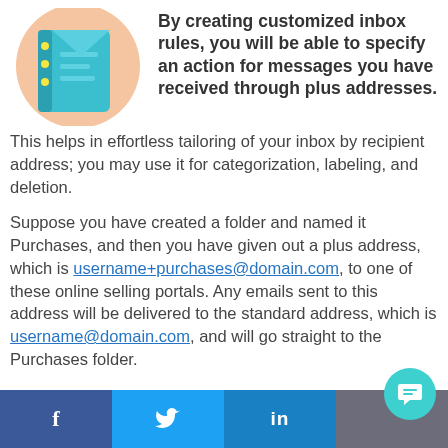[Figure (illustration): Illustration of a notebook/email inbox icon on a peach/orange circular background, with a teal/blue book and yellow dots]
By creating customized inbox rules, you will be able to specify an action for messages you have received through plus addresses. This helps in effortless tailoring of your inbox by recipient address; you may use it for categorization, labeling, and deletion.
Suppose you have created a folder and named it Purchases, and then you have given out a plus address, which is username+purchases@domain.com, to one of these online selling portals. Any emails sent to this address will be delivered to the standard address, which is username@domain.com, and will go straight to the Purchases folder.
[Figure (infographic): Social media footer bar with Facebook, Twitter, LinkedIn icons and a chat bubble button]